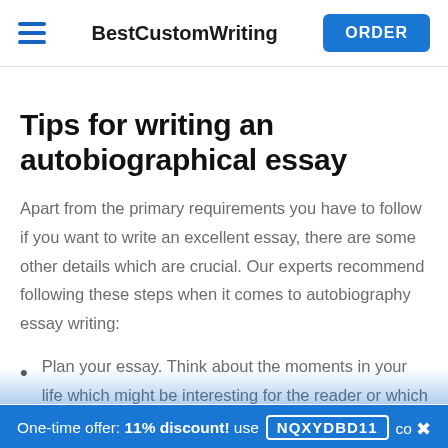BestCustomWriting ORDER
Tips for writing an autobiographical essay
Apart from the primary requirements you have to follow if you want to write an excellent essay, there are some other details which are crucial. Our experts recommend following these steps when it comes to autobiography essay writing:
Plan your essay. Think about the moments in your life which might be interesting for the reader or which taught you some great lessons and are worth mentioning. Sum up your ideas in the outline.
One-time offer: 11% discount! use NQXYDBD11 code